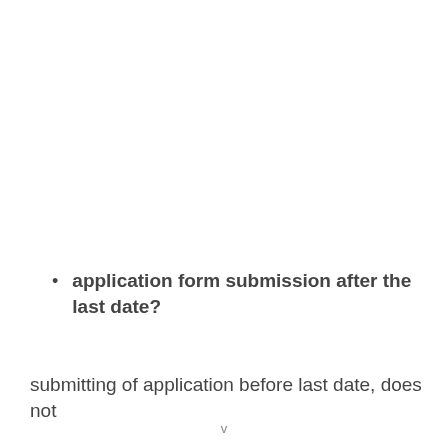application form submission after the last date?
submitting of application before last date, does not